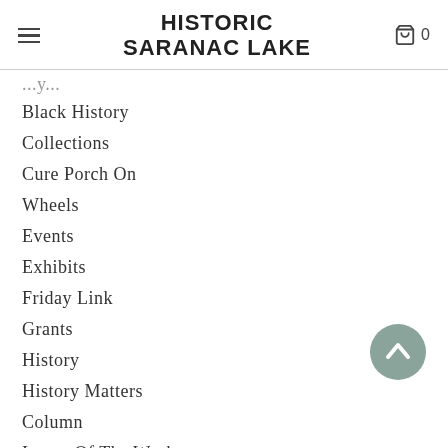HISTORIC SARANAC LAKE
Black History
Collections
Cure Porch On
Wheels
Events
Exhibits
Friday Link
Grants
History
History Matters
Column
Image Of The Week